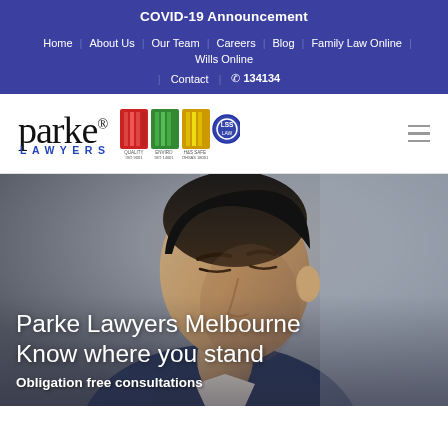COVID-19 Announcement
Home | About Us | Our Team | Careers | Blog | Family Law Online | Wills Online | Contact | 134134
[Figure (logo): Parke Lawyers logo with certification badges and hamburger menu icon]
[Figure (photo): Close-up portrait of a man in a suit looking downward, used as hero image background]
Parke Lawyers Melbourne Know where you stand
Obligation free consultations